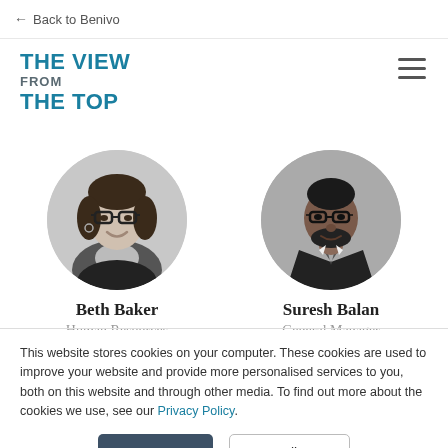← Back to Benivo
THE VIEW FROM THE TOP
[Figure (photo): Circular black and white headshot of Beth Baker, a woman with glasses and short dark hair, smiling]
Beth Baker
Human Resources
[Figure (photo): Circular black and white headshot of Suresh Balan, a man with glasses and a beard wearing a suit and tie]
Suresh Balan
General Manager
This website stores cookies on your computer. These cookies are used to improve your website and provide more personalised services to you, both on this website and through other media. To find out more about the cookies we use, see our Privacy Policy.